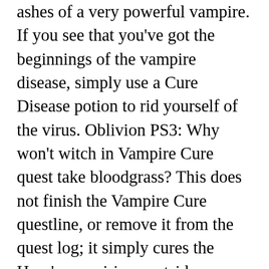ashes of a very powerful vampire. If you see that you've got the beginnings of the vampire disease, simply use a Cure Disease potion to rid yourself of the virus. Oblivion PS3: Why won't witch in Vampire Cure quest take bloodgrass? This does not finish the Vampire Cure questline, or remove it from the quest log; it simply cures the Hero's vampirism. outside, following people), lucky i have lots of Health potions, but i hope i have enough because i Die in ... Fallout: New Vegas, the follow-up to Fallout 3 – the 2008 Game of the Year – brings this beloved franchise to a locat... Vault-Tec engineers have worked around the clock on an interactive reproduction of Wasteland life for you to